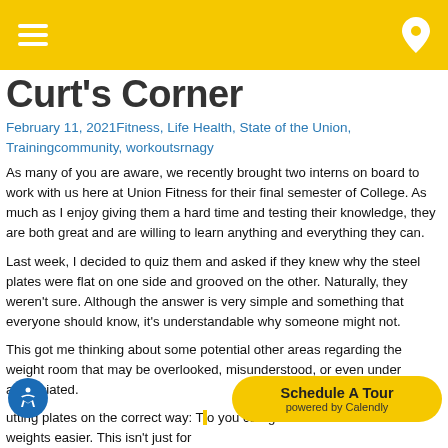Curt's Corner — navigation header bar with hamburger menu and location pin
Curt's Corner
February 11, 2021Fitness, Life Health, State of the Union, Trainingcommunity, workoutsrnagy
As many of you are aware, we recently brought two interns on board to work with us here at Union Fitness for their final semester of College. As much as I enjoy giving them a hard time and testing their knowledge, they are both great and are willing to learn anything and everything they can.
Last week, I decided to quiz them and asked if they knew why the steel plates were flat on one side and grooved on the other. Naturally, they weren't sure. Although the answer is very simple and something that everyone should know, it's understandable why someone might not.
This got me thinking about some potential other areas regarding the weight room that may be overlooked, misunderstood, or even under appreciated.
utting plates on the correct way: you can grab and load/unload the weights easier. This isn't just for